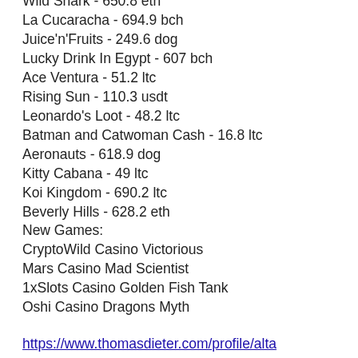Wild Shark - 650.8 eth
La Cucaracha - 694.9 bch
Juice'n'Fruits - 249.6 dog
Lucky Drink In Egypt - 607 bch
Ace Ventura - 51.2 ltc
Rising Sun - 110.3 usdt
Leonardo's Loot - 48.2 ltc
Batman and Catwoman Cash - 16.8 ltc
Aeronauts - 618.9 dog
Kitty Cabana - 49 ltc
Koi Kingdom - 690.2 ltc
Beverly Hills - 628.2 eth
New Games:
CryptoWild Casino Victorious
Mars Casino Mad Scientist
1xSlots Casino Golden Fish Tank
Oshi Casino Dragons Myth
https://www.thomasdieter.com/profile/alta